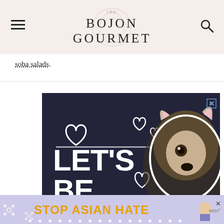the BOJON GOURMET
soba salads.
[Figure (photo): Advertisement showing a husky dog with white heart outlines and bold text reading LET'S BE FRIENDS on a dark background]
[Figure (photo): Banner advertisement with lavender background showing STOP ASIAN HATE in orange bold text with decorative flowers]